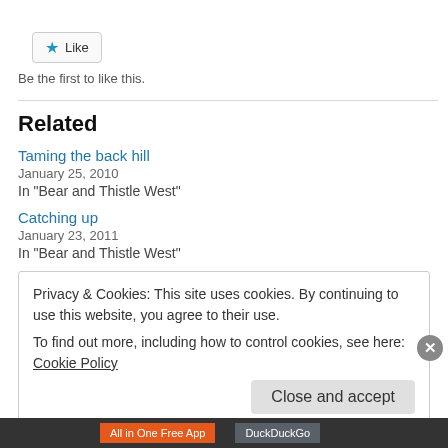[Figure (other): Like button with blue star icon]
Be the first to like this.
Related
Taming the back hill
January 25, 2010
In "Bear and Thistle West"
Catching up
January 23, 2011
In "Bear and Thistle West"
Privacy & Cookies: This site uses cookies. By continuing to use this website, you agree to their use.
To find out more, including how to control cookies, see here: Cookie Policy
Close and accept